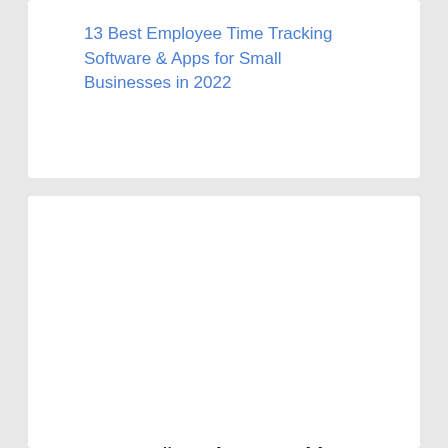13 Best Employee Time Tracking Software & Apps for Small Businesses in 2022
Streamline Time Tracking.
Simplify payroll with our online punch clock.
Easily track employee time, no matter where they are working.